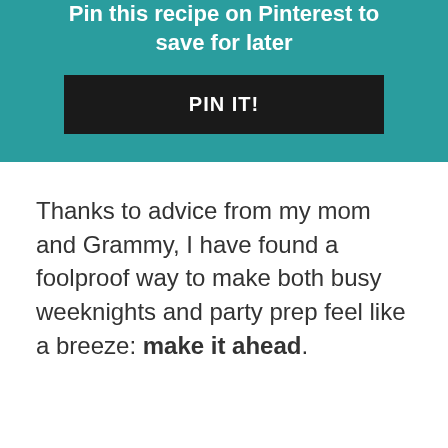[Figure (other): Teal/turquoise banner with bold white text 'Pin this recipe on Pinterest to save for later' and a black 'PIN IT!' button]
Thanks to advice from my mom and Grammy, I have found a foolproof way to make both busy weeknights and party prep feel like a breeze: make it ahead.